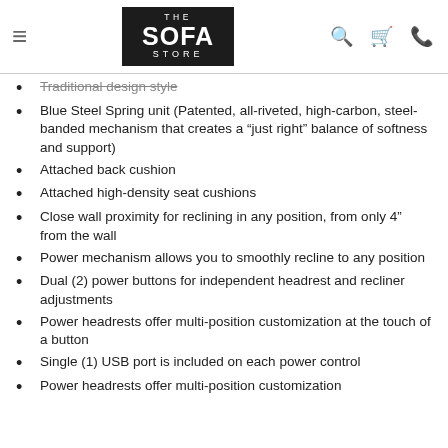THE SOFA STORE
Traditional design style
Blue Steel Spring unit (Patented, all-riveted, high-carbon, steel-banded mechanism that creates a “just right” balance of softness and support)
Attached back cushion
Attached high-density seat cushions
Close wall proximity for reclining in any position, from only 4” from the wall
Power mechanism allows you to smoothly recline to any position
Dual (2) power buttons for independent headrest and recliner adjustments
Power headrests offer multi-position customization at the touch of a button
Single (1) USB port is included on each power control
Power headrests offer multi-position customization...